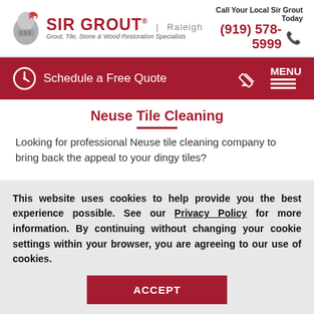[Figure (logo): Sir Grout Raleigh logo with knight helmet icon, red brand name, and tagline 'Grout, Tile, Stone & Wood Restoration Specialists']
Call Your Local Sir Grout Today (919) 578-5999
[Figure (infographic): Red navigation bar with clock icon, 'Schedule a Free Quote' text, pencil icon, and MENU icon]
Neuse Tile Cleaning
Looking for professional Neuse tile cleaning company to bring back the appeal to your dingy tiles?
This website uses cookies to help provide you the best experience possible. See our Privacy Policy for more information. By continuing without changing your cookie settings within your browser, you are agreeing to our use of cookies.